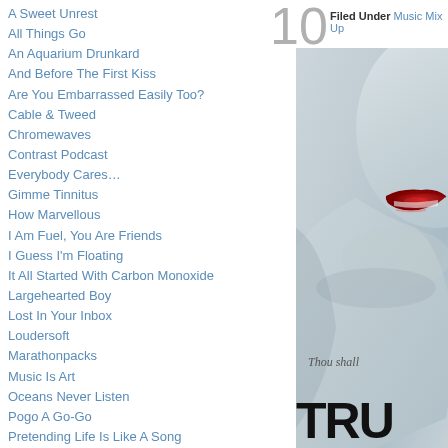10   Filed Under Music Mix Up
A Sweet Unrest
All Things Go
An Aquarium Drunkard
And Before The First Kiss
Are You Embarrassed Easily Too?
Cable & Tweed
Chromewaves
Contrast Podcast
Everybody Cares…
Gimme Tinnitus
How Marvellous
I Am Fuel, You Are Friends
I Guess I'm Floating
It All Started With Carbon Monoxide
Largehearted Boy
Lost In Your Inbox
Loudersoft
Marathonpacks
Music Is Art
Oceans Never Listen
Pogo A Go-Go
Pretending Life Is Like A Song
Puddlegum
Rawkblog
So The Wind…
The Torture Garden
[Figure (photo): Close-up photo of a woman's face/neck with red lips against a pale grey background, with 'Thou shall' text visible and 'TRU' large text at the bottom — appears to be a True Blood related image or book cover.]